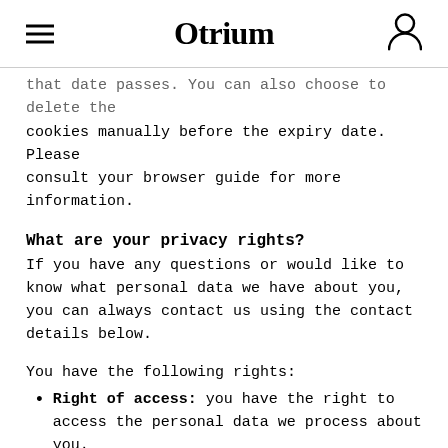Otrium
that date passes. You can also choose to delete the cookies manually before the expiry date. Please consult your browser guide for more information.
What are your privacy rights?
If you have any questions or would like to know what personal data we have about you, you can always contact us using the contact details below.
You have the following rights:
Right of access: you have the right to access the personal data we process about you.
Right to rectification: you have the right to correct or supplement the personal data we process about you, e.g. if they are incorrect or incomplete.